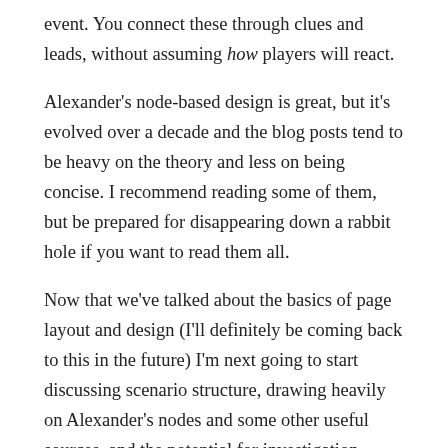event. You connect these through clues and leads, without assuming how players will react.
Alexander's node-based design is great, but it's evolved over a decade and the blog posts tend to be heavy on the theory and less on being concise. I recommend reading some of them, but be prepared for disappearing down a rabbit hole if you want to read them all.
Now that we've talked about the basics of page layout and design (I'll definitely be coming back to this in the future) I'm next going to start discussing scenario structure, drawing heavily on Alexander's nodes and some other useful sources, and the potential for investigation sandboxes.
1 How to improve the graphic design of your scenarios if you intend to